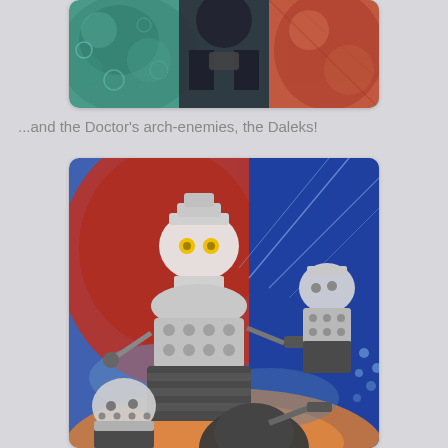[Figure (illustration): Partial illustration showing a figure (the Doctor) with green and teal alien/sci-fi artwork background, cropped at top of page]
...and the Doctor's arch-enemies, the Daleks!
[Figure (illustration): Colorful sci-fi illustration showing Daleks — robotic alien creatures from Doctor Who — against a vivid red, blue, and orange background with cosmic/space elements]